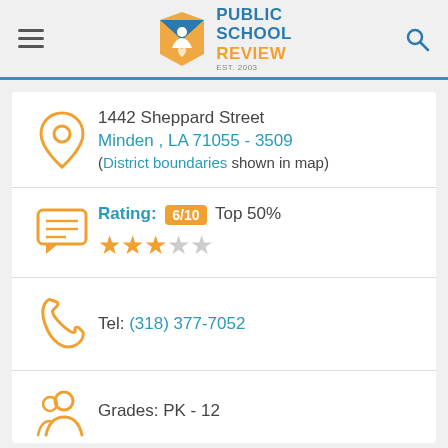Public School Review
1442 Sheppard Street Minden , LA 71055 - 3509 (District boundaries shown in map)
Rating: 6/10 Top 50% ★★★☆☆
Tel: (318) 377-7052
Grades: PK - 12